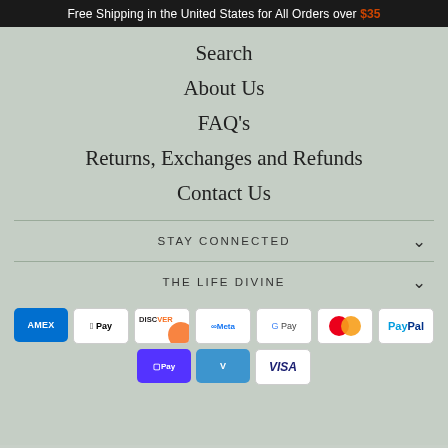Free Shipping in the United States for All Orders over $35
Search
About Us
FAQ's
Returns, Exchanges and Refunds
Contact Us
STAY CONNECTED
THE LIFE DIVINE
[Figure (other): Payment method icons: American Express, Apple Pay, Discover, Meta Pay, Google Pay, Mastercard, PayPal, Shop Pay, Venmo, Visa]